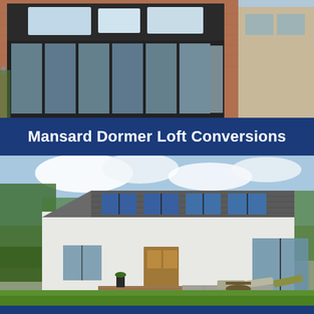[Figure (photo): Exterior photo of a brick house showing a mansard dormer loft conversion with large black-framed floor-to-ceiling windows and a flat roof with skylights]
Mansard Dormer Loft Conversions
[Figure (photo): Rear garden view of a white rendered house with a mansard dormer loft conversion featuring grey slate cladding and black-framed windows, with garden furniture on a patio and a lawn in the foreground]